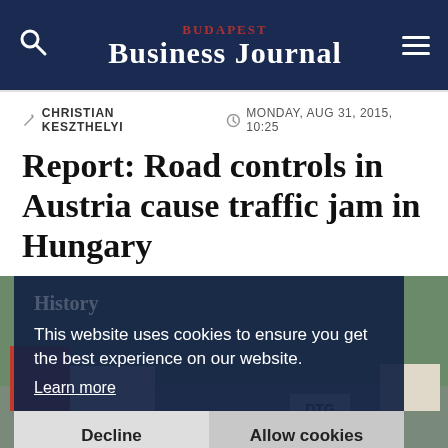BUDAPEST BUSINESS JOURNAL
✏ CHRISTIAN KESZTHELYI   🕐 MONDAY, AUG 31, 2015, 10:25
Report: Road controls in Austria cause traffic jam in Hungary
[Figure (screenshot): Road scene with trucks on a highway, partially obscured by a cookie consent overlay. The overlay reads: 'This website uses cookies to ensure you get the best experience on our website. Learn more' with two buttons: 'Decline' and 'Allow cookies'. A faded 'History' label appears in the top-left of the image area.]